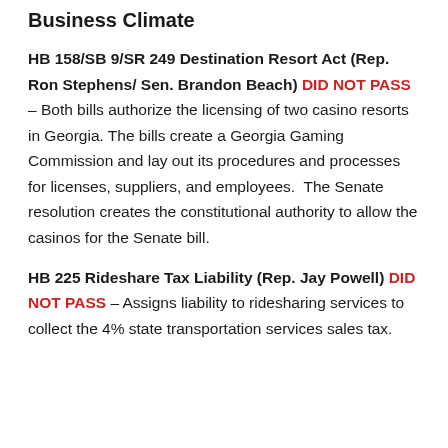Business Climate
HB 158/SB 9/SR 249 Destination Resort Act (Rep. Ron Stephens/ Sen. Brandon Beach) DID NOT PASS – Both bills authorize the licensing of two casino resorts in Georgia. The bills create a Georgia Gaming Commission and lay out its procedures and processes for licenses, suppliers, and employees.  The Senate resolution creates the constitutional authority to allow the casinos for the Senate bill.
HB 225 Rideshare Tax Liability (Rep. Jay Powell) DID NOT PASS – Assigns liability to ridesharing services to collect the 4% state transportation services sales tax.